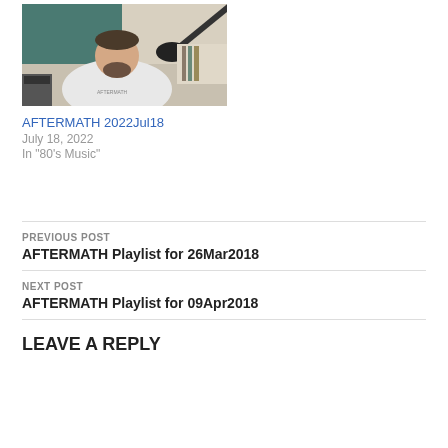[Figure (photo): Photo of a man in a white sweatshirt seated in a studio/radio environment with microphone visible]
AFTERMATH 2022Jul18
July 18, 2022
In "80's Music"
PREVIOUS POST
AFTERMATH Playlist for 26Mar2018
NEXT POST
AFTERMATH Playlist for 09Apr2018
LEAVE A REPLY